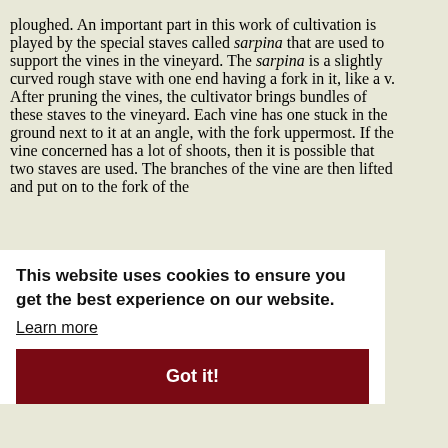ploughed. An important part in this work of cultivation is played by the special staves called sarpina that are used to support the vines in the vineyard. The sarpina is a slightly curved rough stave with one end having a fork in it, like a v. After pruning the vines, the cultivator brings bundles of these staves to the vineyard. Each vine has one stuck in the ground next to it at an angle, with the fork uppermost. If the vine concerned has a lot of shoots, then it is possible that two staves are used. The branches of the vine are then lifted and put on to the fork of the stave. A few weeks later, when leaves have appeared on ...
This website uses cookies to ensure you get the best experience on our website. Learn more
Got it!